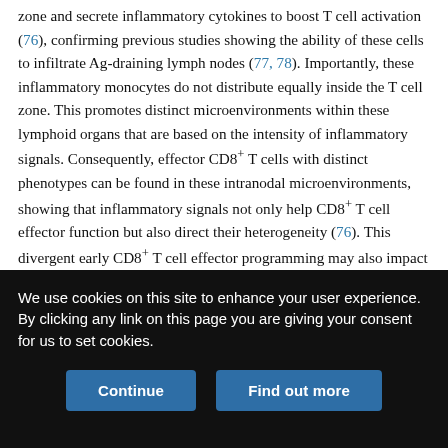zone and secrete inflammatory cytokines to boost T cell activation (76), confirming previous studies showing the ability of these cells to infiltrate Ag-draining lymph nodes (77, 78). Importantly, these inflammatory monocytes do not distribute equally inside the T cell zone. This promotes distinct microenvironments within these lymphoid organs that are based on the intensity of inflammatory signals. Consequently, effector CD8+ T cells with distinct phenotypes can be found in these intranodal microenvironments, showing that inflammatory signals not only help CD8+ T cell effector function but also direct their heterogeneity (76). This divergent early CD8+ T cell effector programming may also impact the generation of CD8+ T cell memory. This is suggested by the clear distinction in TCF1, a
We use cookies on this site to enhance your user experience. By clicking any link on this page you are giving your consent for us to set cookies.